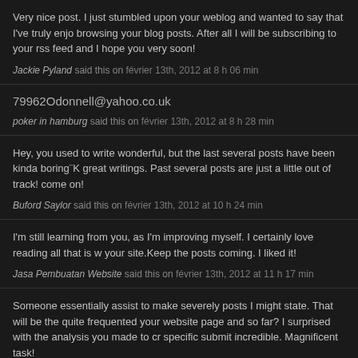Very nice post. I just stumbled upon your weblog and wanted to say that I've truly enjoyed browsing your blog posts. After all I will be subscribing to your rss feed and I hope you very soon!
Jackie Pyland said this on février 13th, 2012 at 8 h 06 min
79962Odonnell@yahoo.co.uk
poker in hamburg said this on février 13th, 2012 at 8 h 28 min
Hey, you used to write wonderful, but the last several posts have been kinda boring¨K great writings. Past several posts are just a little out of track! come on!
Buford Saylor said this on février 13th, 2012 at 10 h 24 min
I'm still learning from you, as I'm improving myself. I certainly love reading all that is w your site.Keep the posts coming. I liked it!
Jasa Pembuatan Website said this on février 13th, 2012 at 11 h 17 min
Someone essentially assist to make severely posts I might state. That will be the quite frequented your website page and so far? I surprised with the analysis you made to cr specific submit incredible. Magnificent task!